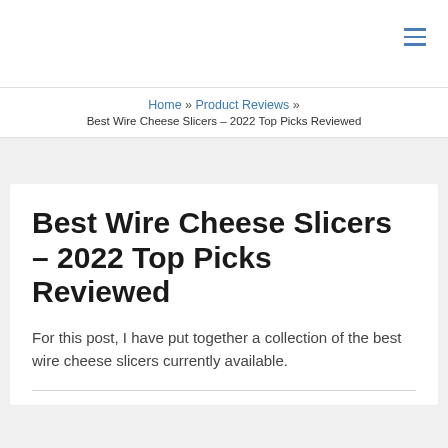≡
Home » Product Reviews » Best Wire Cheese Slicers – 2022 Top Picks Reviewed
Best Wire Cheese Slicers – 2022 Top Picks Reviewed
For this post, I have put together a collection of the best wire cheese slicers currently available.